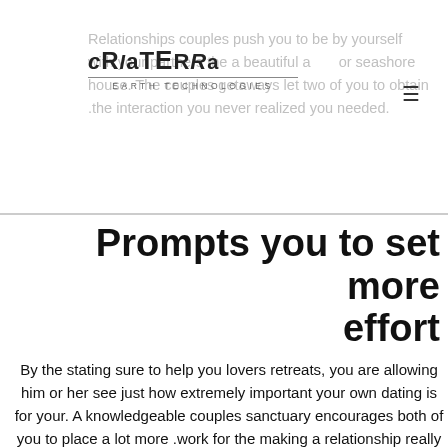CRIATERRA EARTH TECHNOLOGIES
Relationships couples push you to be by yourself with your partners the a beautiful a or seashore house. The couples getaways let two of you to obtain the interaction you never realized you needed.
Prompts you to set more effort
By the stating sure to help you lovers retreats, you are allowing him or her see just how extremely important your own dating is for your. A knowledgeable couples sanctuary encourages both of you to place a lot more work for the making a relationship really works.
With the aid of people retreats, both of you should be able to diving toward painful and sensitive subject areas such sex, currency, intimacy problems, commitment trouble, an such like. that you could